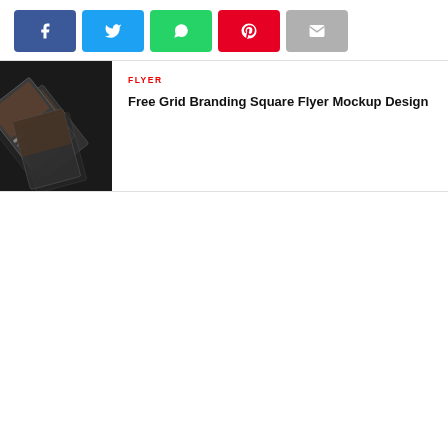[Figure (other): Social share buttons: Facebook (blue), Twitter (cyan), WhatsApp (green), Pinterest (red), Email (gray)]
[Figure (photo): Thumbnail photo showing stacked square flyer mockups arranged diagonally on a dark background]
FLYER
Free Grid Branding Square Flyer Mockup Design